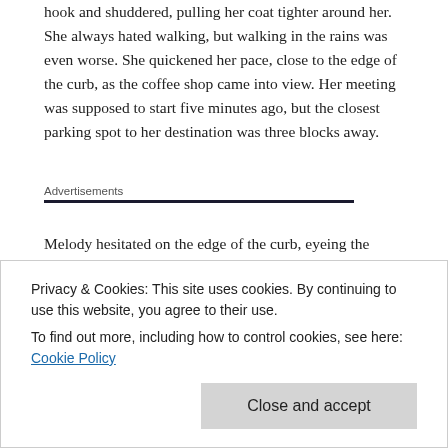hook and shuddered, pulling her coat tighter around her. She always hated walking, but walking in the rains was even worse. She quickened her pace, close to the edge of the curb, as the coffee shop came into view. Her meeting was supposed to start five minutes ago, but the closest parking spot to her destination was three blocks away.
Advertisements
Melody hesitated on the edge of the curb, eyeing the oncoming traffic before dashing across the road. Her new boots splashed in the puddles near the edge, sending cold water squishing into her socks. The wind whipped her hair back as she jogged across the street. She didn't care to notice the cab, not more than only a few feet away from hitting her.
Privacy & Cookies: This site uses cookies. By continuing to use this website, you agree to their use.
To find out more, including how to control cookies, see here: Cookie Policy